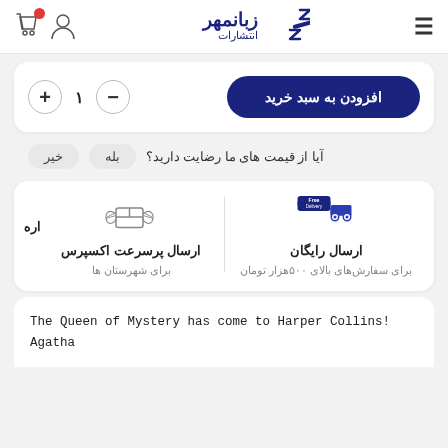زبانمهر انتشارات
افزودن به سبد خرید  −  ۱  +
آیا از قیمت های ما رضایت دارید؟  بله  خیر
[Figure (illustration): Free Delivery truck icon on the right, and a winged box express shipping icon on the left]
ارسال رایگان - برای سفارش‌های بالای ۵۰۰هزار تومان | ارسال پرسرعت اکسپرس - برای شهرستان ها
The Queen of Mystery has come to Harper Collins! Agatha